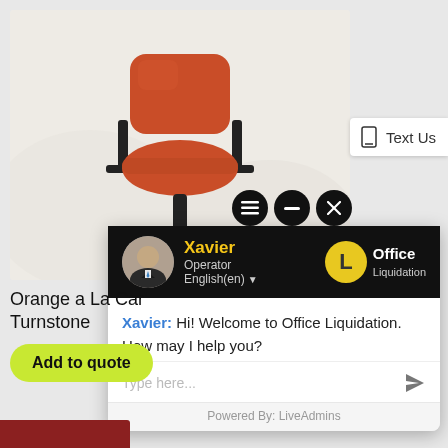[Figure (photo): Orange office chair with black frame and armrests on white background]
Orange a La Car' Turnstone
Add to quote
[Figure (screenshot): Live chat widget overlay showing Xavier, Operator, English(en) with Office Liquidation logo and welcome message: Xavier: Hi! Welcome to Office Liquidation. How may I help you?]
Text Us
Xavier: Hi! Welcome to Office Liquidation. How may I help you?
Type here...
Powered By: LiveAdmins